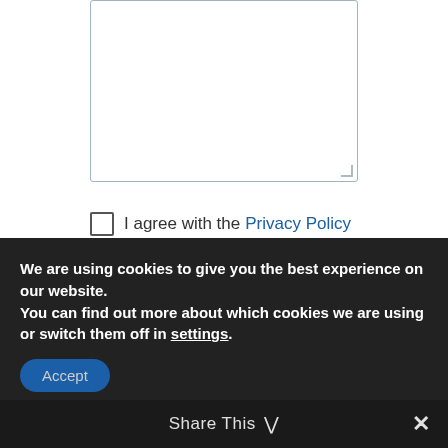[Figure (screenshot): A textarea input field with a light blue border and a resize handle in the bottom right corner]
I agree with the Privacy Policy
Submit
[Figure (illustration): Accessibility icon: blue circle with a white figure in wheelchair/person pose]
All
Accessit in Action
We are using cookies to give you the best experience on our website.
You can find out more about which cookies we are using or switch them off in settings.
Accept
Share This
×